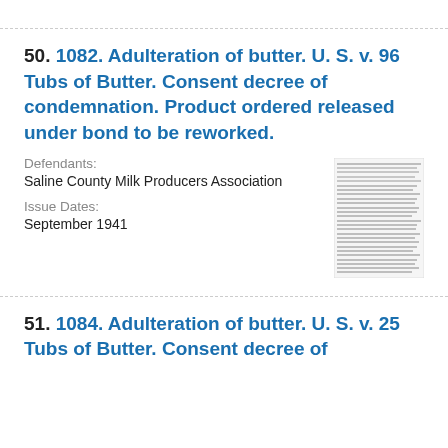50. 1082. Adulteration of butter. U. S. v. 96 Tubs of Butter. Consent decree of condemnation. Product ordered released under bond to be reworked.
Defendants: Saline County Milk Producers Association
Issue Dates: September 1941
[Figure (other): Thumbnail image of a legal document page with dense small text]
51. 1084. Adulteration of butter. U. S. v. 25 Tubs of Butter. Consent decree of condemnation. Product ordered released under bond to be reworked.